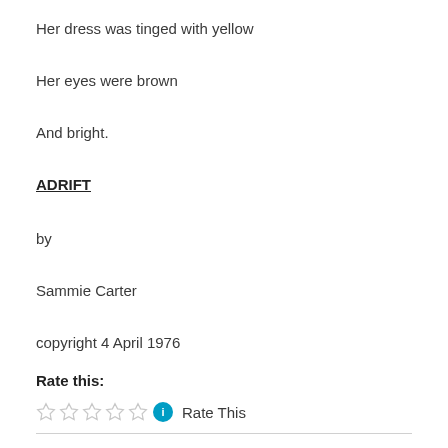Her dress was tinged with yellow
Her eyes were brown
And bright.
ADRIFT
by
Sammie Carter
copyright 4 April 1976
Rate this:
[Figure (other): Five empty star rating icons followed by a teal info icon and 'Rate This' text]